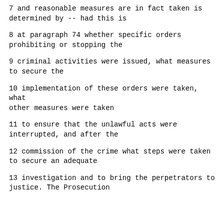7      and reasonable measures are in fact taken is determined by -- had this is
8      at paragraph 74 whether specific orders prohibiting or stopping the
9      criminal activities were issued, what measures to secure the
10      implementation of these orders were taken, what other measures were taken
11      to ensure that the unlawful acts were interrupted, and after the
12      commission of the crime what steps were taken to secure an adequate
13      investigation and to bring the perpetrators to justice.  The Prosecution